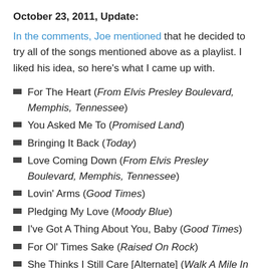October 23, 2011, Update:
In the comments, Joe mentioned that he decided to try all of the songs mentioned above as a playlist. I liked his idea, so here's what I came up with.
For The Heart (From Elvis Presley Boulevard, Memphis, Tennessee)
You Asked Me To (Promised Land)
Bringing It Back (Today)
Love Coming Down (From Elvis Presley Boulevard, Memphis, Tennessee)
Lovin' Arms (Good Times)
Pledging My Love (Moody Blue)
I've Got A Thing About You, Baby (Good Times)
For Ol' Times Sake (Raised On Rock)
She Thinks I Still Care [Alternate] (Walk A Mile In My